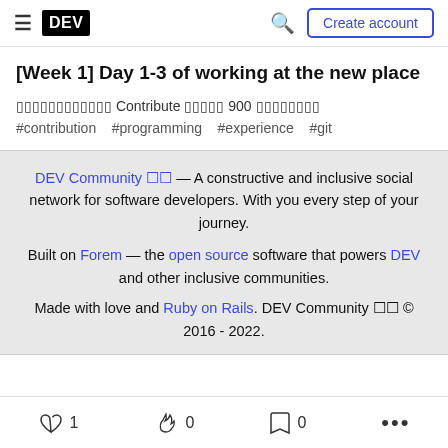DEV — Create account
[Week 1] Day 1-3 of working at the new place
▯▯▯▯▯▯▯▯▯▯▯▯ Contribute ▯▯▯▯▯ 900 ▯▯▯▯▯▯▯▯
#contribution  #programming  #experience  #git
DEV Community 🌙 — A constructive and inclusive social network for software developers. With you every step of your journey.

Built on Forem — the open source software that powers DEV and other inclusive communities.
Made with love and Ruby on Rails. DEV Community 🌙 © 2016 - 2022.
♡ 1   🔥 0   🔖 0   ...